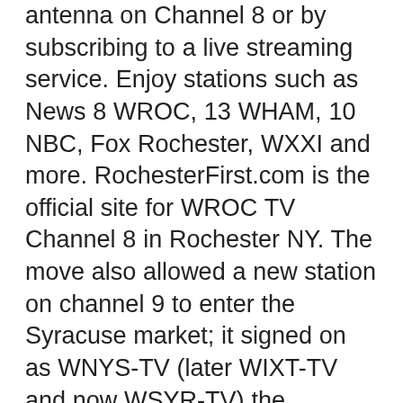antenna on Channel 8 or by subscribing to a live streaming service. Enjoy stations such as News 8 WROC, 13 WHAM, 10 NBC, Fox Rochester, WXXI and more. RochesterFirst.com is the official site for WROC TV Channel 8 in Rochester NY. The move also allowed a new station on channel 9 to enter the Syracuse market; it signed on as WNYS-TV (later WIXT-TV and now WSYR-TV) the following day. Visit the post for more. WROC-TV discontinued regular programming on its analog signal, over VHF channel 8, at 11:35 p.m. on June 12, 2009 (following the late newscast), the official date in which full-power television stations in the United States transitioned from analog to digital broadcasts under federal mandate. Originating from a secondary set at this station's facilities, the show eventually expanded to 45 minutes followed by a fifteen-minute sports highlight program known as Sports Extra. Get insider tips, top news